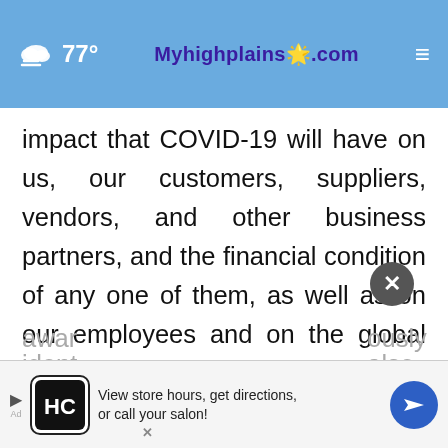77° Myhighplains.com ☰
impact that COVID-19 will have on us, our customers, suppliers, vendors, and other business partners, and the financial condition of any one of them, as well as on our employees and on the global economy as a whole. Any material effect of COVID-19 on any of the foregoing could also adversely impact us. This situation is changing rapidly and additional impacts may arise of which we are not currently aware [ously] ident [also]
[Figure (screenshot): Advertisement bar: HC salon store locator ad with navigation arrow icon]
[Figure (other): Close button (circle with X) overlaid on text]